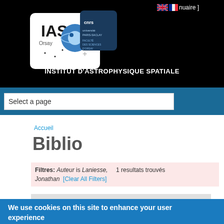[Figure (logo): IAS (Institut d'Astrophysique Spatiale) logo with CNRS and Université Paris-Saclay logos on black background]
INSTITUT D'ASTROPHYSIQUE SPATIALE
Select a page
Accueil
Biblio
Filtres: Auteur is Laniesse, Jonathan  1 resultats trouvés  [Clear All Filters]
2009
We use cookies on this site to enhance your user experience